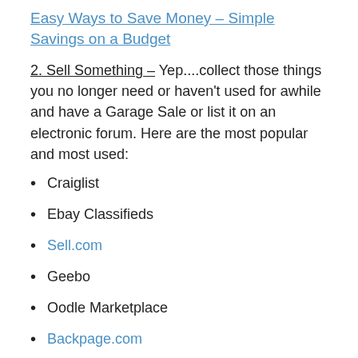Easy Ways to Save Money – Simple Savings on a Budget
2. Sell Something – Yep....collect those things you no longer need or haven't used for awhile and have a Garage Sale or list it on an electronic forum. Here are the most popular and most used:
Craiglist
Ebay Classifieds
Sell.com
Geebo
Oodle Marketplace
Backpage.com
There are also MANY emerging apps for your